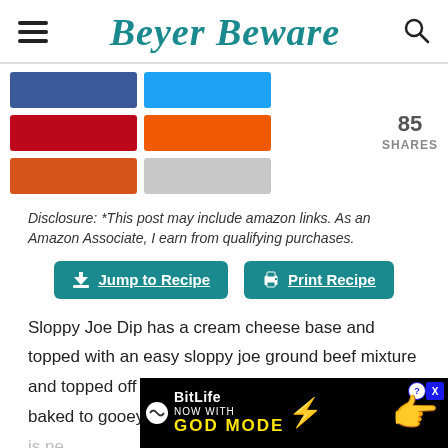Beyer Beware
[Figure (other): Social share buttons: Facebook (blue), Twitter (light blue), Pinterest (red), and three more buttons (orange, dark orange, gray), with share count showing 85 SHARES]
Disclosure: *This post may include amazon links. As an Amazon Associate, I earn from qualifying purchases.
[Figure (other): Two teal buttons: 'Jump to Recipe' with download arrow icon, and 'Print Recipe' with printer icon]
Sloppy Joe Dip has a cream cheese base and topped with an easy sloppy joe ground beef mixture and topped off with shredded cheese and onions, baked to gooey, meaty goodness and t... dip is ne...
[Figure (other): BitLife advertisement banner: NOW WITH GOD MODE, showing cartoon hand pointing with lightning bolt]